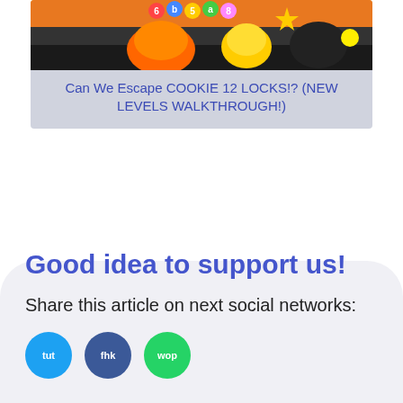[Figure (screenshot): Colorful cartoon/game screenshot showing cookie-themed characters with bright colors on orange/black background]
Can We Escape COOKIE 12 LOCKS!? (NEW LEVELS WALKTHROUGH!)
Good idea to support us!
Share this article on next social networks:
[Figure (other): Social sharing buttons: tut (Twitter, blue), fhk (Facebook, dark blue), wop (WhatsApp, green)]